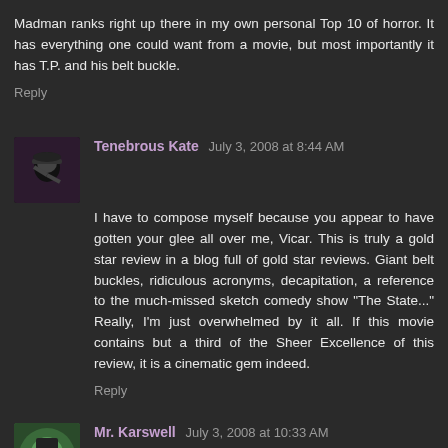Madman ranks right up there in my own personal Top 10 of horror. It has everything one could want from a movie, but most importantly it has T.P. and his belt buckle.
Reply
Tenebrous Kate July 3, 2008 at 8:44 AM
I have to compose myself because you appear to have gotten your glee all over me, Vicar. This is truly a gold star review in a blog full of gold star reviews. Giant belt buckles, ridiculous acronyms, decapitation, a reference to the much-missed sketch comedy show "The State..." Really, I'm just overwhelmed by it all. If this movie contains but a third of the Sheer Excellence of this review, it is a cinematic gem indeed.
Reply
Mr. Karswell July 3, 2008 at 10:33 AM
Yes indeed, this is a total winner of a film, very underated